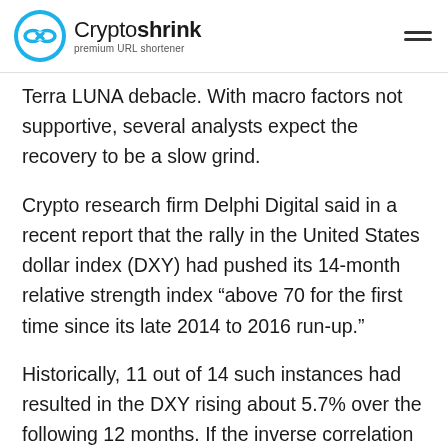Cryptoshrink premium URL shortener
Terra LUNA debacle. With macro factors not supportive, several analysts expect the recovery to be a slow grind.
Crypto research firm Delphi Digital said in a recent report that the rally in the United States dollar index (DXY) had pushed its 14-month relative strength index “above 70 for the first time since its late 2014 to 2016 run-up.”
Historically, 11 out of 14 such instances had resulted in the DXY rising about 5.7% over the following 12 months. If the inverse correlation between the DXY and Bitcoin remains intact, that could spell trouble for crypto investors.
Arthur Hayes, the former CEO of crypto derivatives